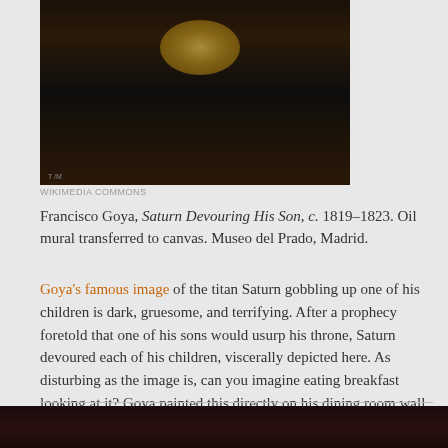[Figure (photo): Cropped detail of Francisco Goya's Saturn Devouring His Son painting — dark background with a flesh-colored form visible]
WIKIMEDIA COMMONS
Francisco Goya, Saturn Devouring His Son, c. 1819–1823. Oil mural transferred to canvas. Museo del Prado, Madrid.
Goya's famous image of the titan Saturn gobbling up one of his children is dark, gruesome, and terrifying. After a prophecy foretold that one of his sons would usurp his throne, Saturn devoured each of his children, viscerally depicted here. As disturbing as the image is, can you imagine eating breakfast looking at it? Goya painted this directly on his dining room wall at his home outside of Madrid, one of his fourteen Black Paintings that adorned his walls and has since been transferred to canvas.
[Figure (photo): Bottom portion of another dark painting, partially visible at the very bottom of the page]